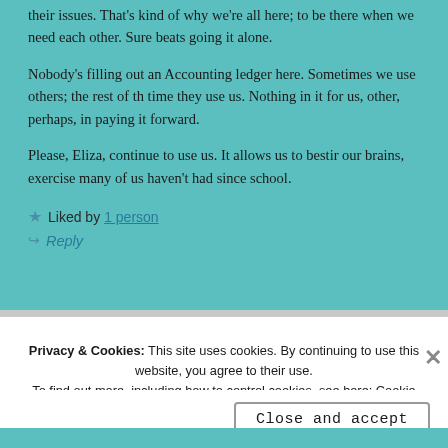their issues. That's kind of why we're all here; to be there when we need each other. Sure beats going it alone.
Nobody's filling out an Accounting ledger here. Sometimes we use others; the rest of th time they use us. Nothing in it for us, other, perhaps, in paying it forward.
Please, Eliza, continue to use us. It allows us to bestir our brains, exercise many of us haven't had since school.
★ Liked by 1 person
↩ Reply
Privacy & Cookies: This site uses cookies. By continuing to use this website, you agree to their use. To find out more, including how to control cookies, see here: Cookie Policy
Close and accept